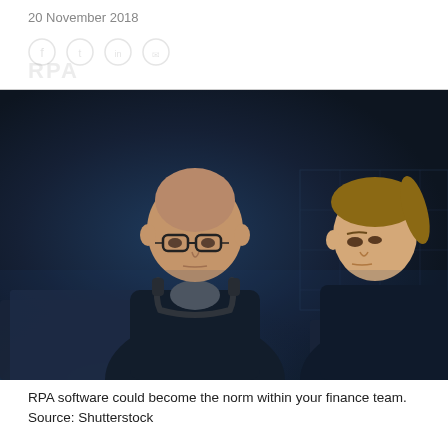20 November 2018
[Figure (photo): Two people, a bald man with glasses and headphones around his neck and a woman with a ponytail, looking at laptop screens in a dark blue-lit office environment.]
RPA software could become the norm within your finance team. Source: Shutterstock